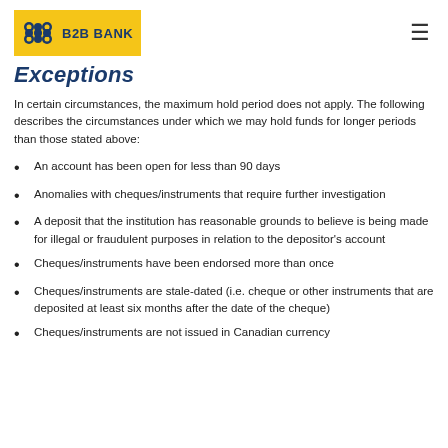B2B BANK
Exceptions
In certain circumstances, the maximum hold period does not apply. The following describes the circumstances under which we may hold funds for longer periods than those stated above:
An account has been open for less than 90 days
Anomalies with cheques/instruments that require further investigation
A deposit that the institution has reasonable grounds to believe is being made for illegal or fraudulent purposes in relation to the depositor's account
Cheques/instruments have been endorsed more than once
Cheques/instruments are stale-dated (i.e. cheque or other instruments that are deposited at least six months after the date of the cheque)
Cheques/instruments are not issued in Canadian currency